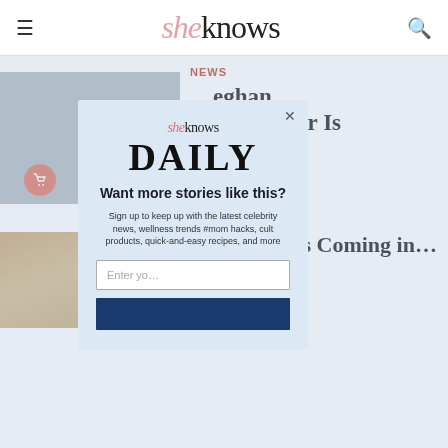sheknows
[Figure (photo): Man in dark jacket at outdoor event]
NEWS
...eghan ...g UK Tour Is ...'Greeted ... Royal
[Figure (photo): Blonde woman smiling]
'Something's Coming in...
[Figure (screenshot): SheKnows Daily newsletter signup modal popup with fields for email and subscribe button]